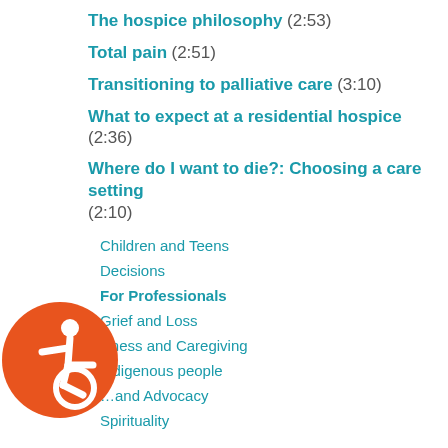The hospice philosophy (2:53)
Total pain (2:51)
Transitioning to palliative care (3:10)
What to expect at a residential hospice (2:36)
Where do I want to die?: Choosing a care setting (2:10)
Children and Teens
Decisions
For Professionals
Grief and Loss
Illness and Caregiving
Indigenous people
...and Advocacy
Spirituality
[Figure (logo): Accessibility icon — orange circle with white wheelchair user symbol]